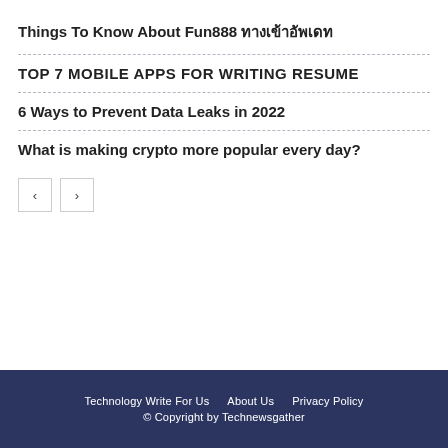Things To Know About Fun888 ทางเข้าอัพเดท
TOP 7 MOBILE APPS FOR WRITING RESUME
6 Ways to Prevent Data Leaks in 2022
What is making crypto more popular every day?
Technology Write For Us   About Us   Privacy Policy
© Copyright by Technewsgather